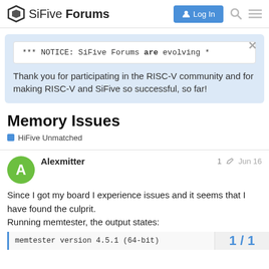SiFive Forums
*** NOTICE: SiFive Forums are evolving *
Thank you for participating in the RISC-V community and for making RISC-V and SiFive so successful, so far!
Memory Issues
HiFive Unmatched
Alexmitter  1  Jun 16
Since I got my board I experience issues and it seems that I have found the culprit.
Running memtester, the output states:
memtester version 4.5.1 (64-bit)
1/1